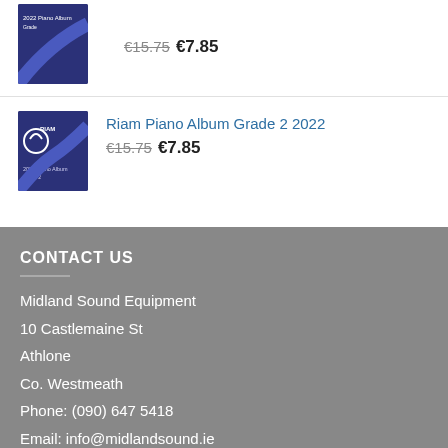€15.75 €7.85
[Figure (illustration): RIAM Piano Album book cover, dark blue/navy]
Riam Piano Album Grade 2 2022
€15.75 €7.85
CONTACT US
Midland Sound Equipment
10 Castlemaine St
Athlone
Co. Westmeath
Phone: (090) 647 5418
Email: info@midlandsound.ie
OUR LOCATION